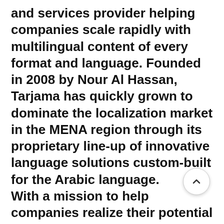and services provider helping companies scale rapidly with multilingual content of every format and language. Founded in 2008 by Nour Al Hassan, Tarjama has quickly grown to dominate the localization market in the MENA region through its proprietary line-up of innovative language solutions custom-built for the Arabic language. With a mission to help companies realize their potential for global growth, Tarjama is committed to delivering language solutions that meet international standards of quality, speed, and cost-efficiency. It offers an end-to-end range of AI-powered language services including translation, localization